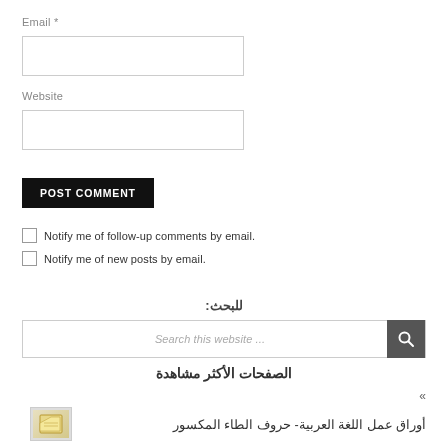Email *
Website
POST COMMENT
Notify me of follow-up comments by email.
Notify me of new posts by email.
للبحث:
Search this website ...
الصفحات الأكثر مشاهدة
أوراق عمل اللغة العربية- حروف الطاء المكسور